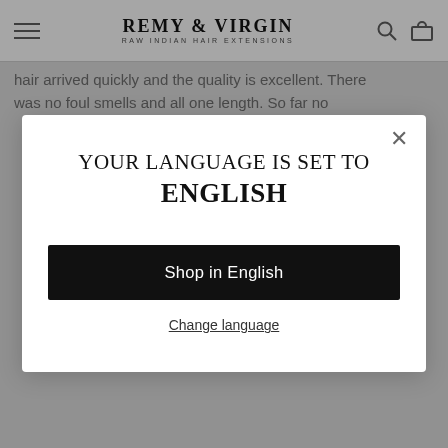REMY & VIRGIN — RAW INDIAN HAIR EXTENSIONS
hair arrived quickly and the quality is excellent. There was no foul smells and all one length. So far no
[Figure (screenshot): Language selection modal dialog with text 'YOUR LANGUAGE IS SET TO ENGLISH', a black 'Shop in English' button, and a 'Change language' link. Has an X close button in top right.]
Taniqua G. · Comprador verificado
★★★★★  May 16, 2022
Best Hair !
This Is Really The Best Quality Hair I've Ever Purchased...